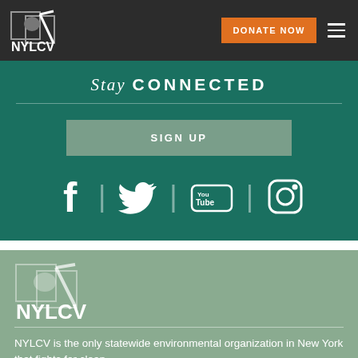NYLCV — DONATE NOW — Navigation
Stay CONNECTED
SIGN UP
[Figure (infographic): Social media icons for Facebook, Twitter, YouTube, and Instagram displayed in a row with dividers between them]
[Figure (logo): NYLCV logo in muted green/sage color]
NYLCV is the only statewide environmental organization in New York that fights for clean